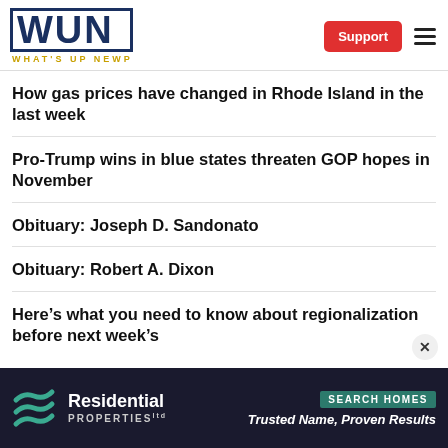WUN - WHAT'S UP NEWP
How gas prices have changed in Rhode Island in the last week
Pro-Trump wins in blue states threaten GOP hopes in November
Obituary: Joseph D. Sandonato
Obituary: Robert A. Dixon
Here’s what you need to know about regionalization before next week’s
[Figure (other): Residential Properties advertisement banner: logo with stacked wave icon, text 'Residential Properties', tagline 'Trusted Name, Proven Results', button 'SEARCH HOMES']